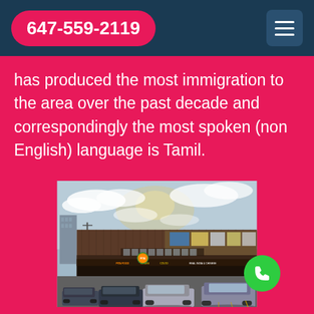647-559-2119
has produced the most immigration to the area over the past decade and correspondingly the most spoken (non English) language is Tamil.
[Figure (photo): Street-level photo of a strip mall with multiple storefronts, signage including Tamil text, vehicles parked in front, overcast sky with sun breaking through.]